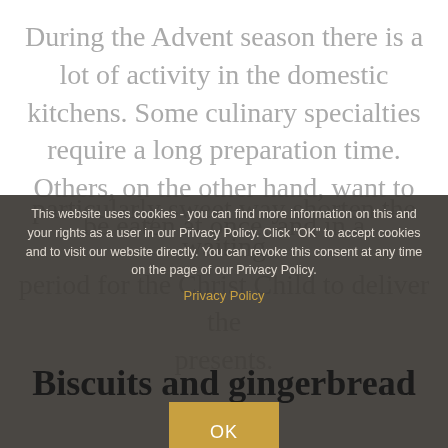During the Advent season there is a lot of activity in the domestic kitchens. Some culinary specialties require a long preparation time. Others, on the other hand, want to be eaten at once, and in a particularly sweet way shorten the waiting period for the Christ Child to deliver the presents.
This website uses cookies - you can find more information on this and your rights as a user in our Privacy Policy. Click "OK" to accept cookies and to visit our website directly. You can revoke this consent at any time on the page of our Privacy Policy.
Privacy Policy
Biscuits and gingerbread
OK